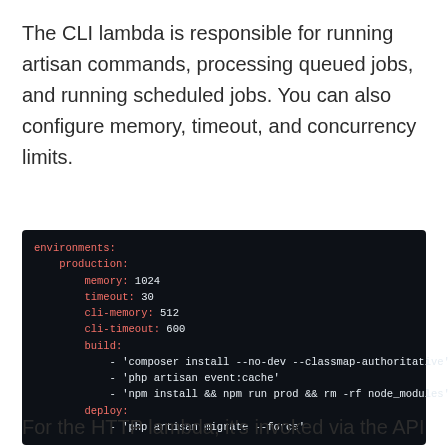The CLI lambda is responsible for running artisan commands, processing queued jobs, and running scheduled jobs. You can also configure memory, timeout, and concurrency limits.
[Figure (screenshot): Code block showing YAML configuration with environments, production settings (memory: 1024, timeout: 30, cli-memory: 512, cli-timeout: 600), build commands (composer install, php artisan event:cache, npm install), and deploy commands (php artisan migrate --force).]
For the HTTP lambda, it's invoked via the API